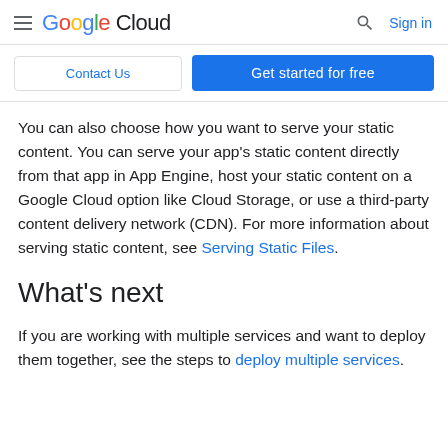Google Cloud  Sign in
Contact Us   Get started for free
You can also choose how you want to serve your static content. You can serve your app's static content directly from that app in App Engine, host your static content on a Google Cloud option like Cloud Storage, or use a third-party content delivery network (CDN). For more information about serving static content, see Serving Static Files.
What's next
If you are working with multiple services and want to deploy them together, see the steps to deploy multiple services.